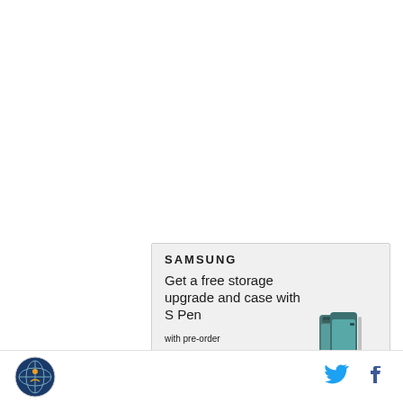[Figure (screenshot): Samsung advertisement banner with light gray background. Shows Samsung logo at top left, headline text 'Get a free storage storage upgrade and case with S Pen', subtext 'with pre-order', a circular arrow button, and a Samsung Galaxy Z Fold4 phone image on the right side.]
[Figure (logo): Circular organization logo at bottom left of footer bar.]
[Figure (logo): Twitter bird icon (blue) at bottom right of footer bar.]
[Figure (logo): Facebook 'f' icon (blue) at bottom right of footer bar.]